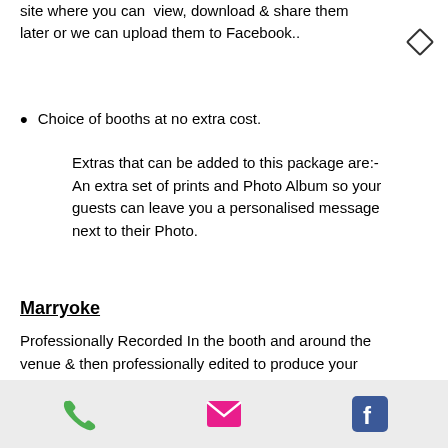site where you can view, download & share them later or we can upload them to Facebook..
Choice of booths at no extra cost.
Extras that can be added to this package are:-
An extra set of prints and Photo Album so your guests can leave you a personalised message next to their Photo.
Marryoke
Professionally Recorded In the booth and around the venue & then professionally edited to produce your personalized marryoke production.
(See some of our Marryoke videos on our marryoke page here.)
We can also supply an Award winning
[Figure (infographic): Mobile app footer bar with phone (green), email (pink/red), and Facebook (blue) icons]